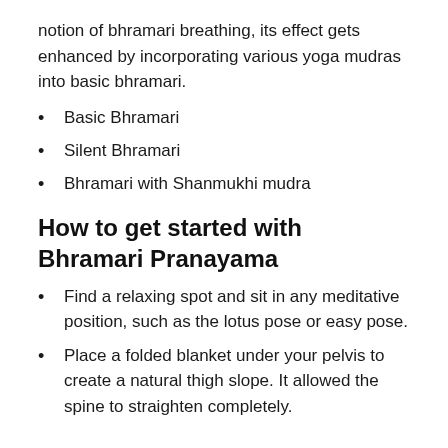notion of bhramari breathing, its effect gets enhanced by incorporating various yoga mudras into basic bhramari.
Basic Bhramari
Silent Bhramari
Bhramari with Shanmukhi mudra
How to get started with Bhramari Pranayama
Find a relaxing spot and sit in any meditative position, such as the lotus pose or easy pose.
Place a folded blanket under your pelvis to create a natural thigh slope. It allowed the spine to straighten completely.